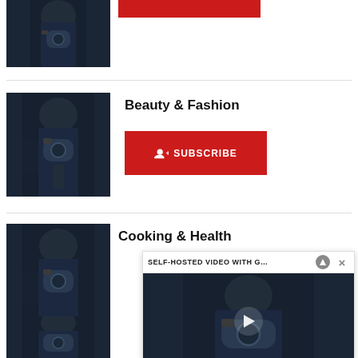[Figure (photo): Dark photo of person in black hat holding camera, cropped at top]
[Figure (photo): Beauty & Fashion section thumbnail — person in black hat holding camera]
Beauty & Fashion
SUBSCRIBE button
[Figure (photo): Cooking & Health section thumbnail — person in black hat holding camera]
Cooking & Health
[Figure (photo): Bottom thumbnail — person in black hat holding camera]
[Figure (screenshot): Video overlay panel with title SELF-HOSTED VIDEO WITH G... and video thumbnail with play button]